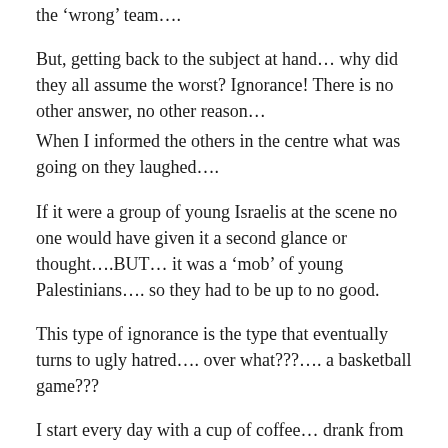the 'wrong' team….
But, getting back to the subject at hand… why did they all assume the worst? Ignorance! There is no other answer, no other reason…
When I informed the others in the centre what was going on they laughed….
If it were a group of young Israelis at the scene no one would have given it a second glance or thought….BUT… it was a 'mob' of young Palestinians…. so they had to be up to no good.
This type of ignorance is the type that eventually turns to ugly hatred…. over what???…. a basketball game???
I start every day with a cup of coffee… drank from a mug that has the following quote on it (by William James)…..
“The greatest discovery of any generation is that a human being